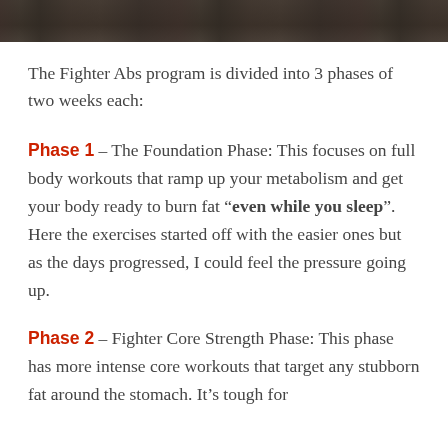[Figure (photo): Partial photo strip at top of page showing a dark/blurred image]
The Fighter Abs program is divided into 3 phases of two weeks each:
Phase 1 – The Foundation Phase: This focuses on full body workouts that ramp up your metabolism and get your body ready to burn fat "even while you sleep". Here the exercises started off with the easier ones but as the days progressed, I could feel the pressure going up.
Phase 2 – Fighter Core Strength Phase: This phase has more intense core workouts that target any stubborn fat around the stomach. It's tough for